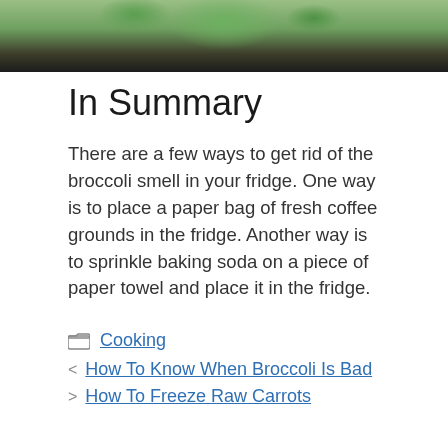[Figure (photo): Close-up photo of broccoli floret on a dark surface, cropped at top of page]
In Summary
There are a few ways to get rid of the broccoli smell in your fridge. One way is to place a paper bag of fresh coffee grounds in the fridge. Another way is to sprinkle baking soda on a piece of paper towel and place it in the fridge.
Cooking
How To Know When Broccoli Is Bad
How To Freeze Raw Carrots